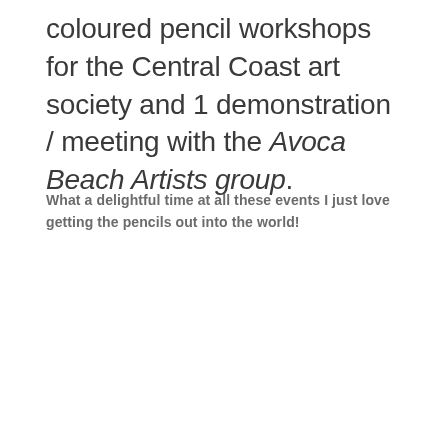coloured pencil workshops for the Central Coast art society and 1 demonstration / meeting with the Avoca Beach Artists group.
What a delightful time at all these events I just love getting the pencils out into the world!